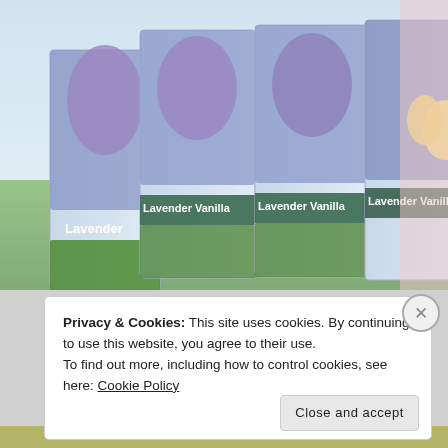[Figure (photo): Product packaging image showing Lavender and Lavender Vanilla scented boxes arranged in a row, with lavender flowers and a vanilla flower visible on the packaging. A QR code appears on the rightmost box.]
The smell is also quite nice.
The end.
But wait!
Privacy & Cookies: This site uses cookies. By continuing to use this website, you agree to their use.
To find out more, including how to control cookies, see here: Cookie Policy
Close and accept